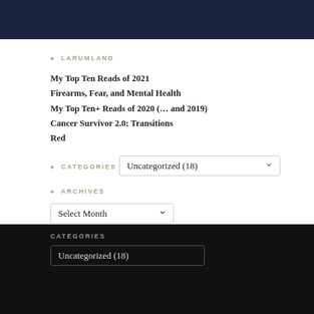[Figure (photo): Dark navy/blue background image, partially visible at top of page]
♠ LARUMLAND
My Top Ten Reads of 2021
Firearms, Fear, and Mental Health
My Top Ten+ Reads of 2020 (… and 2019)
Cancer Survivor 2.0: Transitions
Red
♠ CATEGORIES
Uncategorized  (18)
♠ ARCHIVES
Select Month
CATEGORIES
Uncategorized  (18)